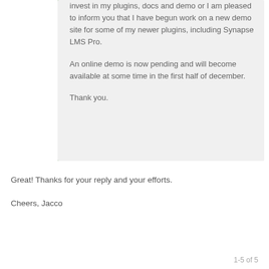invest in my plugins, docs and demo or I am pleased to inform you that I have begun work on a new demo site for some of my newer plugins, including Synapse LMS Pro.

An online demo is now pending and will become available at some time in the first half of december.

Thank you.
Great! Thanks for your reply and your efforts.

Cheers, Jacco
1-5 of 5